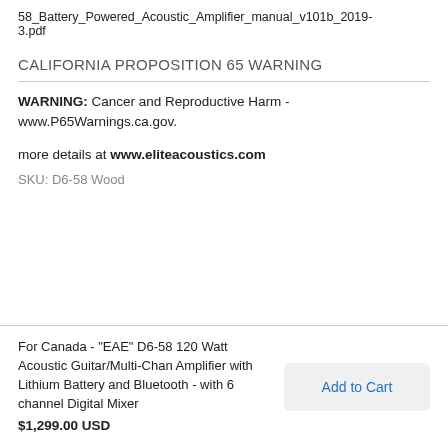58_Battery_Powered_Acoustic_Amplifier_manual_v101b_2019-3.pdf
CALIFORNIA PROPOSITION 65 WARNING
WARNING: Cancer and Reproductive Harm - www.P65Warnings.ca.gov.
more details at www.eliteacoustics.com
SKU: D6-58 Wood
For Canada - "EAE" D6-58 120 Watt Acoustic Guitar/Multi-Chan Amplifier with Lithium Battery and Bluetooth - with 6 channel Digital Mixer
$1,299.00 USD